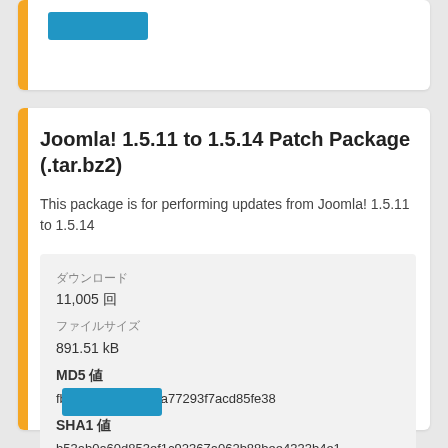Joomla! 1.5.11 to 1.5.14 Patch Package (.tar.bz2)
This package is for performing updates from Joomla! 1.5.11 to 1.5.14
| ダウンロード |  |
| 11,005 回 |  |
| ファイルサイズ |  |
| 891.51 kB |  |
| MD5 値 |  |
| fb52e0190a783b5a77293f7acd85fe38 |  |
| SHA1 値 |  |
| b53ab0a60d853ef1c92367a062b88bee4333b4e1 |  |